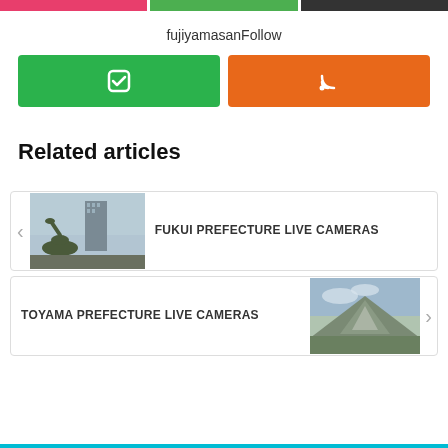[Figure (other): Top navigation buttons: red, green, dark]
fujiyamasanFollow
[Figure (other): Feedly follow button (green) and RSS feed button (orange)]
Related articles
[Figure (photo): Article card: image of a dinosaur sculpture in front of a building. Title: FUKUI PREFECTURE LIVE CAMERAS]
[Figure (photo): Article card: image of mountains/landscape. Title: TOYAMA PREFECTURE LIVE CAMERAS]